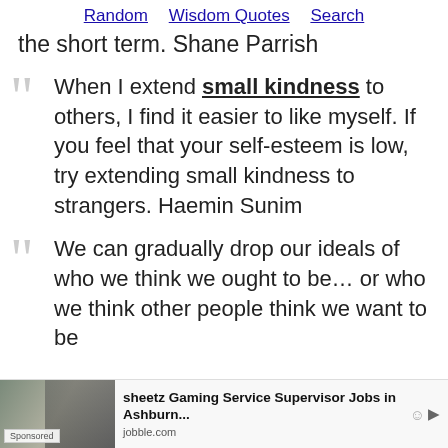Random   Wisdom Quotes   Search
the short term. Shane Parrish
When I extend small kindness to others, I find it easier to like myself. If you feel that your self-esteem is low, try extending small kindness to strangers. Haemin Sunim
We can gradually drop our ideals of who we think we ought to be… or who we think other people think we want to be
[Figure (other): Advertisement banner: Sheetz Gaming Service Supervisor Jobs in Ashburn, jobble.com. Shows a woman on phone, Sponsored label, ad icons.]